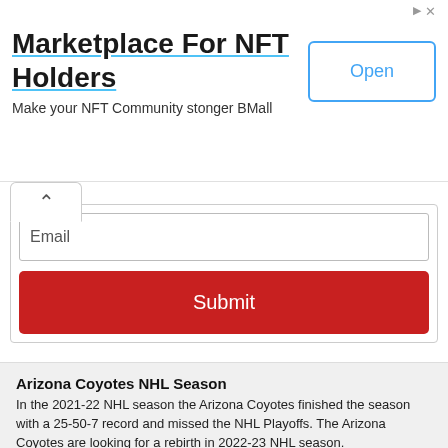[Figure (screenshot): Advertisement banner for 'Marketplace For NFT Holders' with title, subtitle 'Make your NFT Community stonger BMall', and an Open button]
Email
Submit
Arizona Coyotes NHL Season
In the 2021-22 NHL season the Arizona Coyotes finished the season with a 25-50-7 record and missed the NHL Playoffs. The Arizona Coyotes are looking for a rebirth in 2022-23 NHL season.
About Arizona Coyotes
Starting as the Winnipeg Jets in 1972 in the World Hockey Association (WHA) and eventually moving to the NHL in 1979 the Jets eventually moved to Phoenix, AZ in 1996. With the new name of the Arizona Coyotes, the team plays